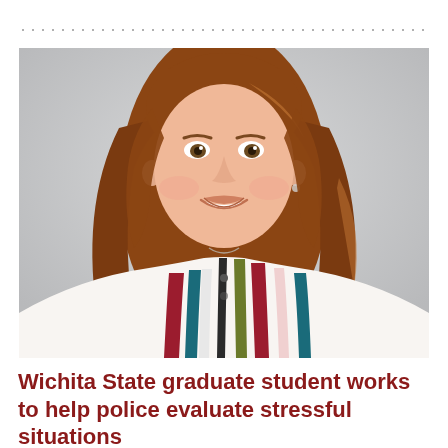[Figure (photo): Portrait photo of a young woman with long reddish-brown hair, smiling, wearing a striped blouse with colors including red, white, teal, and olive green. Background is light gray.]
Wichita State graduate student works to help police evaluate stressful situations